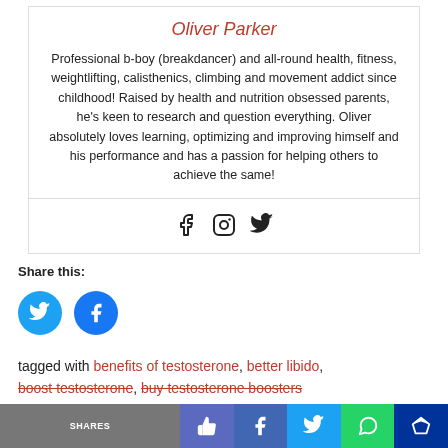Oliver Parker
Professional b-boy (breakdancer) and all-round health, fitness, weightlifting, calisthenics, climbing and movement addict since childhood! Raised by health and nutrition obsessed parents, he’s keen to research and question everything. Oliver absolutely loves learning, optimizing and improving himself and his performance and has a passion for helping others to achieve the same!
[Figure (infographic): Social media icons: Facebook, Instagram, Twitter]
Share this:
[Figure (infographic): Twitter and Facebook circular share buttons (blue)]
tagged with benefits of testosterone, better libido, boost testosterone, buy testosterone boosters
Shares | [thumbs up] | [Facebook] | [Twitter] | [WhatsApp] | [crown]